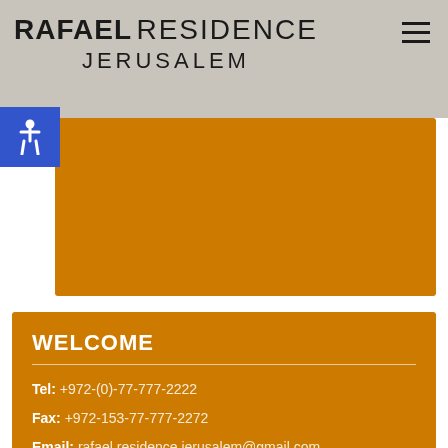RAFAEL RESIDENCE JERUSALEM
[Figure (other): Orange banner background image area]
WELCOME
Tel: +972-(0)-77-777-2222
Fax: +972-153-77-777-2272
Email: rafael.residence.jerusalem@gmail.com
Address
Derech Bethlehem 70, Bak'a